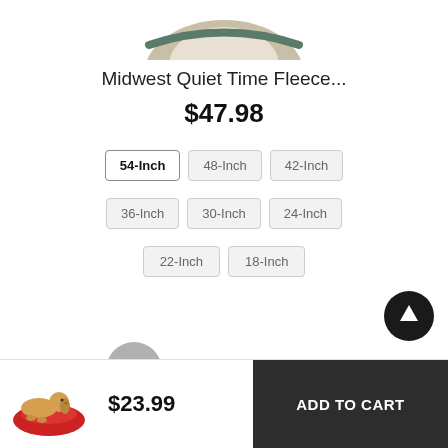[Figure (photo): Partial top view of a pet bed/fleece product, cropped at top of page]
Midwest Quiet Time Fleece...
$47.98
54-Inch (selected), 48-Inch, 42-Inch, 36-Inch, 30-Inch, 24-Inch, 22-Inch, 18-Inch
[Figure (photo): Circular scroll-to-top button (dark circle with upward arrow)]
[Figure (photo): Partial next product image thumbnail — grey circle visible at bottom]
[Figure (photo): Small thumbnail of a dog lying on a red pet bed]
$23.99
ADD TO CART